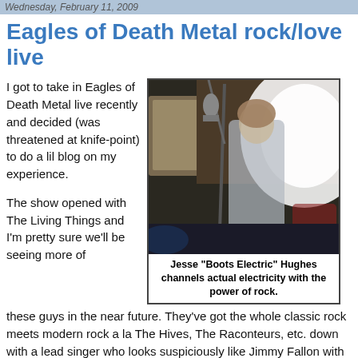Wednesday, February 11, 2009
Eagles of Death Metal rock/love live
I got to take in Eagles of Death Metal live recently and decided (was threatened at knife-point) to do a lil blog on my experience.
[Figure (photo): Concert photo of Jesse 'Boots Electric' Hughes performing on stage with a microphone stand, bright stage lighting behind him]
Jesse "Boots Electric" Hughes channels actual electricity with the power of rock.
The show opened with The Living Things and I'm pretty sure we'll be seeing more of these guys in the near future. They've got the whole classic rock meets modern rock a la The Hives, The Raconteurs, etc. down with a lead singer who looks suspiciously like Jimmy Fallon with longer hair.